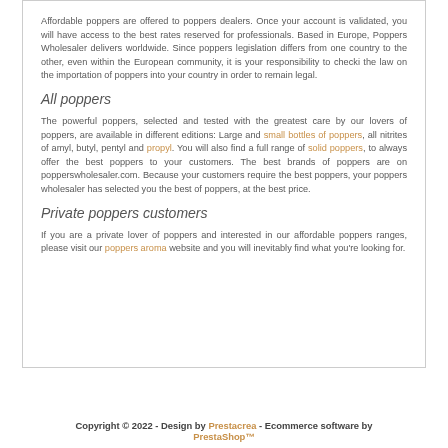Affordable poppers are offered to poppers dealers. Once your account is validated, you will have access to the best rates reserved for professionals. Based in Europe, Poppers Wholesaler delivers worldwide. Since poppers legislation differs from one country to the other, even within the European community, it is your responsibility to checki the law on the importation of poppers into your country in order to remain legal.
All poppers
The powerful poppers, selected and tested with the greatest care by our lovers of poppers, are available in different editions: Large and small bottles of poppers, all nitrites of amyl, butyl, pentyl and propyl. You will also find a full range of solid poppers, to always offer the best poppers to your customers. The best brands of poppers are on popperswholesaler.com. Because your customers require the best poppers, your poppers wholesaler has selected you the best of poppers, at the best price.
Private poppers customers
If you are a private lover of poppers and interested in our affordable poppers ranges, please visit our poppers aroma website and you will inevitably find what you're looking for.
Copyright © 2022 - Design by Prestacrea - Ecommerce software by PrestaShop™